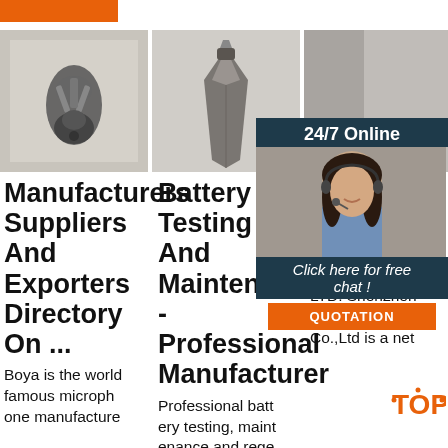[Figure (photo): Orange horizontal bar at top left]
[Figure (photo): Photo of a drill bit on grey background]
[Figure (photo): Photo of a chisel/pick tooth metal part on light background]
[Figure (photo): Photo of a woman wearing headset - 24/7 Online chat widget with QUOTATION button]
Manufacturers Suppliers And Exporters Directory On ...
Boya is the world famous microph one manufacture
Battery Testing And Maintenance -Professional Manufacturer
Professional batt ery testing, maint enance and rege neration equipm
Sh Bo Ba LT
Shenzhen Bofun eng Battery Co., LTD. Shenzhen Bofuneng Batter y Co.,Ltd is a net